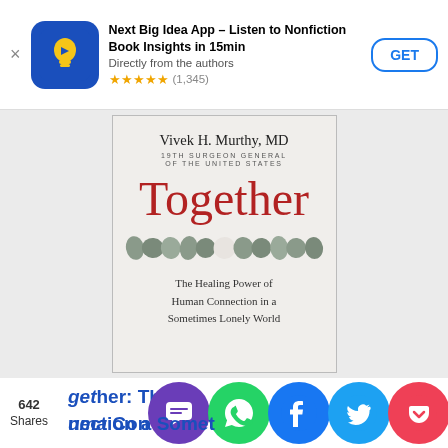[Figure (screenshot): App store banner for 'Next Big Idea App – Listen to Nonfiction Book Insights in 15min' with app icon, star rating of 4.5 stars (1,345 reviews), and a GET button]
Next Big Idea App – Listen to Nonfiction Book Insights in 15min
Directly from the authors
★★★★★ (1,345)
[Figure (photo): Book cover of 'Together: The Healing Power of Human Connection in a Sometimes Lonely World' by Vivek H. Murthy, MD, 19th Surgeon General of the United States. Features large red title text and a strand of stones across the middle.]
642
Shares
gether: The Healing Power of
uma Connection a Sometim